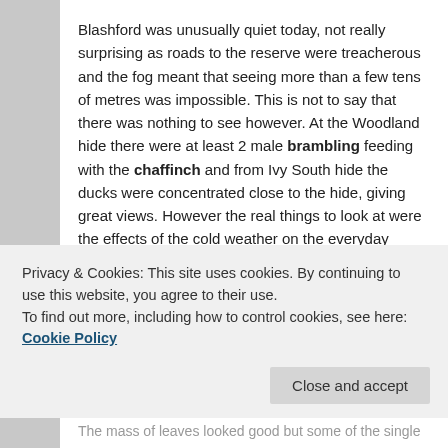Blashford was unusually quiet today, not really surprising as roads to the reserve were treacherous and the fog meant that seeing more than a few tens of metres was impossible. This is not to say that there was nothing to see however. At the Woodland hide there were at least 2 male brambling feeding with the chaffinch and from Ivy South hide the ducks were concentrated close to the hide, giving great views. However the real things to look at were the effects of the cold weather on the everyday things around the reserve, the heavy frost on the trees and grass and frosted seed heads. Best of all, in my opinion were some amazing iced leaves embedded in some of the frosted puddles.
Privacy & Cookies: This site uses cookies. By continuing to use this website, you agree to their use. To find out more, including how to control cookies, see here: Cookie Policy
The mass of leaves looked good but some of the single